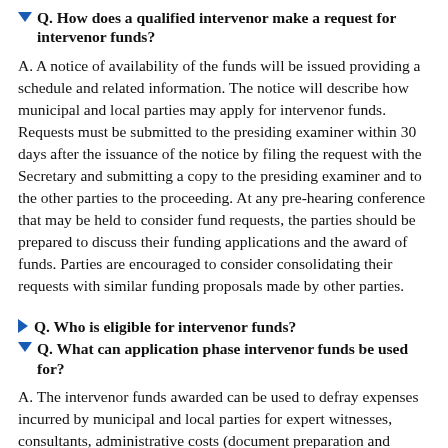Q. How does a qualified intervenor make a request for intervenor funds?
A. A notice of availability of the funds will be issued providing a schedule and related information. The notice will describe how municipal and local parties may apply for intervenor funds. Requests must be submitted to the presiding examiner within 30 days after the issuance of the notice by filing the request with the Secretary and submitting a copy to the presiding examiner and to the other parties to the proceeding. At any pre-hearing conference that may be held to consider fund requests, the parties should be prepared to discuss their funding applications and the award of funds. Parties are encouraged to consider consolidating their requests with similar funding proposals made by other parties.
Q. Who is eligible for intervenor funds?
Q. What can application phase intervenor funds be used for?
A. The intervenor funds awarded can be used to defray expenses incurred by municipal and local parties for expert witnesses, consultants, administrative costs (document preparation and duplications costs) and legal fees. No intervenor funds may be used to pay for judicial review or litigation costs.
Q. On what basis will the funds be awarded?